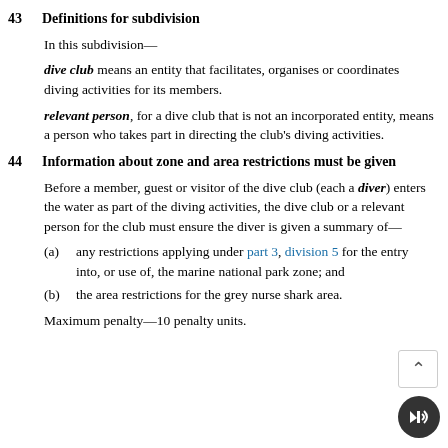43   Definitions for subdivision
In this subdivision—
dive club means an entity that facilitates, organises or coordinates diving activities for its members.
relevant person, for a dive club that is not an incorporated entity, means a person who takes part in directing the club's diving activities.
44   Information about zone and area restrictions must be given
Before a member, guest or visitor of the dive club (each a diver) enters the water as part of the diving activities, the dive club or a relevant person for the club must ensure the diver is given a summary of—
(a)   any restrictions applying under part 3, division 5 for the entry into, or use of, the marine national park zone; and
(b)   the area restrictions for the grey nurse shark area.
Maximum penalty—10 penalty units.